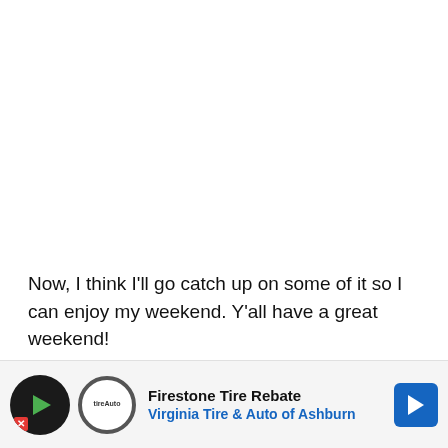Now, I think I'll go catch up on some of it so I can enjoy my weekend. Y'all have a great weekend!
How was your week? Be sure to post about it and link up. If this is your first time to join us, be sure to read the kindly written guidelines and also follow along with your favorite reader or blog code.
[Figure (other): Advertisement banner for Firestone Tire Rebate from Virginia Tire & Auto of Ashburn, with logo and blue arrow icon]